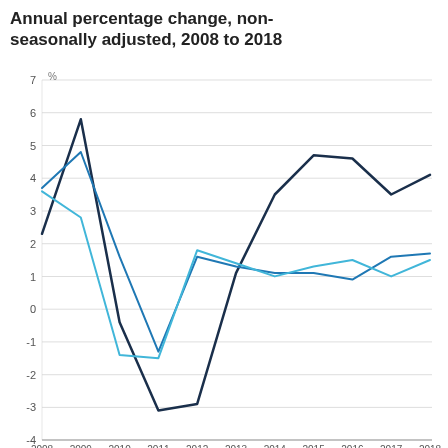Annual percentage change, non-seasonally adjusted, 2008 to 2018
[Figure (line-chart): Annual percentage change, non-seasonally adjusted, 2008 to 2018]